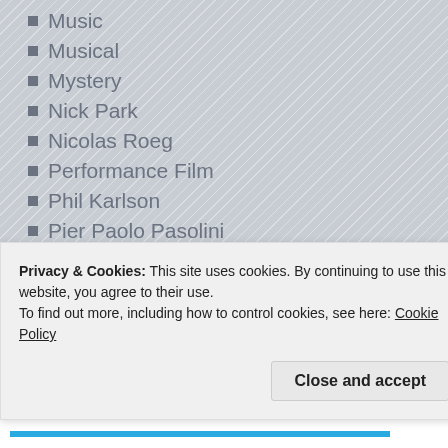Music
Musical
Mystery
Nick Park
Nicolas Roeg
Performance Film
Phil Karlson
Pier Paolo Pasolini
Polish Cinema
Polish Filmmakers
Pre-1920's Cinema
Rene Clair
Richard Fleischer
RIchard Roeper
Roman Polanski
Privacy & Cookies: This site uses cookies. By continuing to use this website, you agree to their use. To find out more, including how to control cookies, see here: Cookie Policy
Close and accept